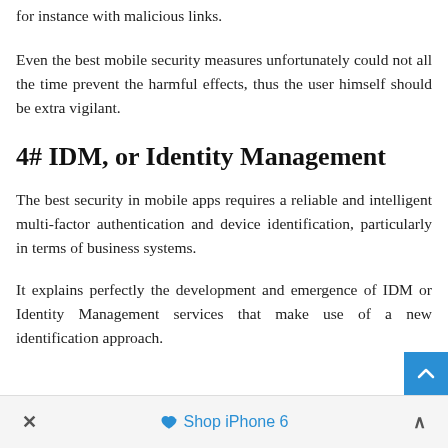for instance with malicious links.
Even the best mobile security measures unfortunately could not all the time prevent the harmful effects, thus the user himself should be extra vigilant.
4# IDM, or Identity Management
The best security in mobile apps requires a reliable and intelligent multi-factor authentication and device identification, particularly in terms of business systems.
It explains perfectly the development and emergence of IDM or Identity Management services that make use of a new identification approach.
× Shop iPhone 6 ∧